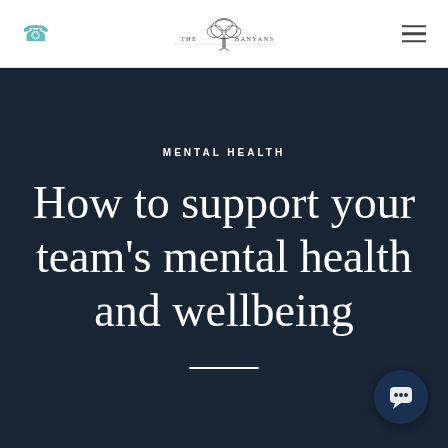THE BANYANS (logo with tree illustration)
MENTAL HEALTH
How to support your team's mental health and wellbeing